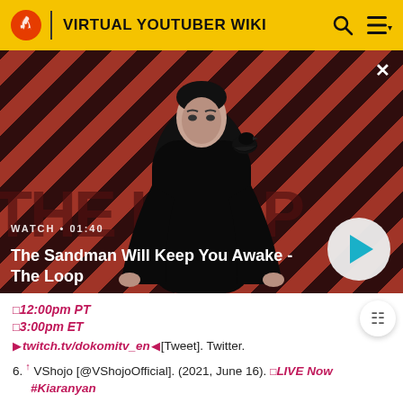VIRTUAL YOUTUBER WIKI
[Figure (screenshot): Video thumbnail for 'The Sandman Will Keep You Awake - The Loop' showing a dark figure with a raven on their shoulder against a red and black diagonal striped background. Shows WATCH • 01:40 label and a play button.]
🔴12:00pm PT
🔴3:00pm ET
▶twitch.tv/dokomitv_en◀[Tweet]. Twitter.
6. ↑ VShojo [@VShojoOfficial]. (2021, June 16). 🔴LIVE Now #Kiaranyan